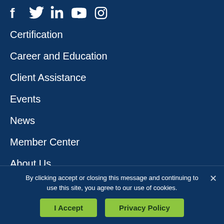[Figure (illustration): Social media icons row: Facebook, Twitter, LinkedIn, YouTube, Instagram — all white on dark blue background]
Certification
Career and Education
Client Assistance
Events
News
Member Center
About Us
By clicking accept or closing this message and continuing to use this site, you agree to our use of cookies.
I Accept | Privacy Policy